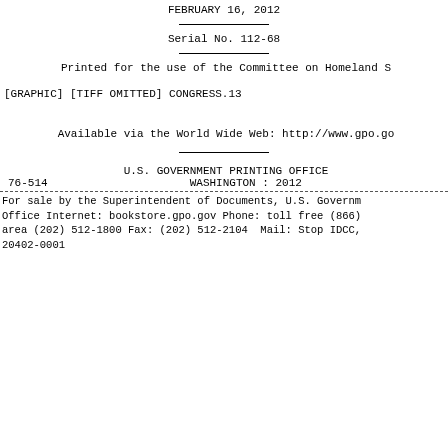FEBRUARY 16, 2012
Serial No. 112-68
Printed for the use of the Committee on Homeland S
[GRAPHIC] [TIFF OMITTED] CONGRESS.13
Available via the World Wide Web: http://www.gpo.go
U.S. GOVERNMENT PRINTING OFFICE
76-514                    WASHINGTON : 2012
For sale by the Superintendent of Documents, U.S. Governm Office Internet: bookstore.gpo.gov Phone: toll free (866 area (202) 512-1800 Fax: (202) 512-2104  Mail: Stop IDCC, 20402-0001